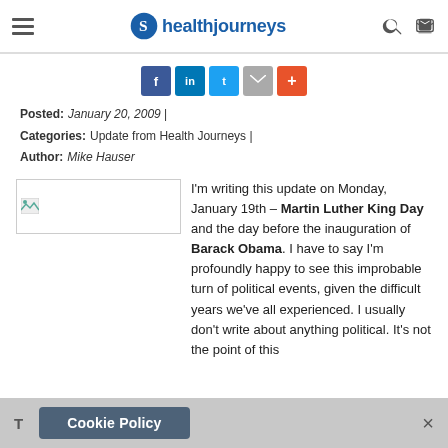healthjourneys
[Figure (infographic): Social sharing buttons: Facebook, LinkedIn, Twitter, Email, More (+)]
Posted: January 20, 2009 | Categories: Update from Health Journeys | Author: Mike Hauser
[Figure (photo): Placeholder image thumbnail]
I'm writing this update on Monday, January 19th – Martin Luther King Day and the day before the inauguration of Barack Obama.  I have to say I'm profoundly happy to see this improbable turn of political events, given the difficult years we've all experienced.  I usually don't write about anything political.  It's not the point of this
Cookie Policy